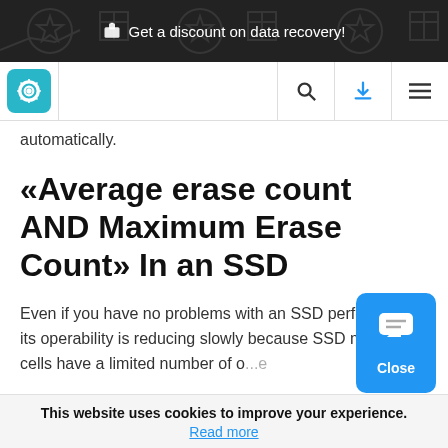Get a discount on data recovery!
[Figure (logo): Software website logo with gear icon in teal/cyan rounded square, with search, download, and menu icons in navigation bar]
automatically.
«Average erase count AND Maximum Erase Count» In an SSD
Even if you have no problems with an SSD performance, its operability is reducing slowly because SSD memory cells have a limited number of o...e
This website uses cookies to improve your experience.
Read more